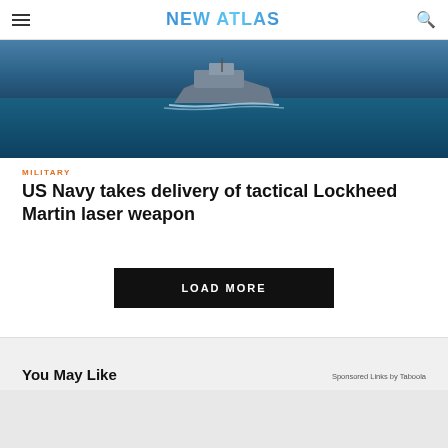NEW ATLAS
[Figure (photo): Aerial view of a naval warship cutting through blue ocean water, viewed from above and slightly behind, showing the bow wake.]
MILITARY
US Navy takes delivery of tactical Lockheed Martin laser weapon
LOAD MORE
You May Like
Sponsored Links by Taboola